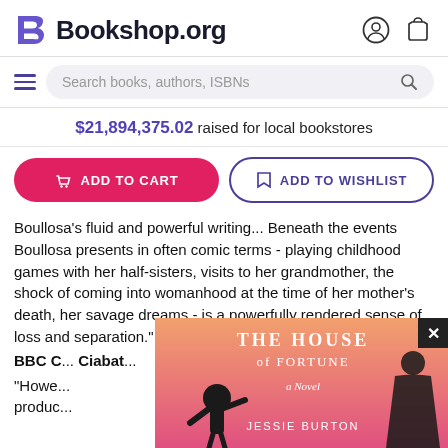Bookshop.org
Search books, authors, ISBNs
$21,894,375.02 raised for local bookstores
ADD TO CART
ADD TO WISHLIST
Boullosa's fluid and powerful writing... Beneath the events Boullosa presents in often comic terms - playing childhood games with her half-sisters, visits to her grandmother, the shock of coming into womanhood at the time of her mother's death, her savage dreams - is a powerfully rendered sense of loss and separation." --
BBC C... Ciabat... Jane
"Howe... produc...
[Figure (illustration): Book cover advertisement for 'The House of Fortune: A Novel' by Jessie Burton, with a pink/salmon gradient background showing a child figure and a cloaked figure. Partially overlays the page content.]